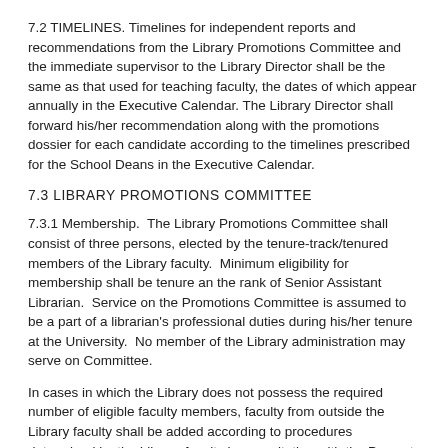7.2 TIMELINES. Timelines for independent reports and recommendations from the Library Promotions Committee and the immediate supervisor to the Library Director shall be the same as that used for teaching faculty, the dates of which appear annually in the Executive Calendar. The Library Director shall forward his/her recommendation along with the promotions dossier for each candidate according to the timelines prescribed for the School Deans in the Executive Calendar.
7.3 LIBRARY PROMOTIONS COMMITTEE
7.3.1 Membership.  The Library Promotions Committee shall consist of three persons, elected by the tenure-track/tenured members of the Library faculty.  Minimum eligibility for membership shall be tenure an the rank of Senior Assistant Librarian.  Service on the Promotions Committee is assumed to be a part of a librarian's professional duties during his/her tenure at the University.  No member of the Library administration may serve on Committee.
In cases in which the Library does not possess the required number of eligible faculty members, faculty from outside the Library faculty shall be added according to procedures determined by the Library faculty in consultation with the Provost and the Executive